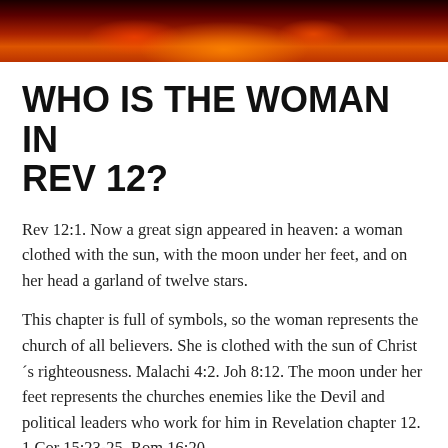[Figure (photo): A header image showing fiery orange and red flames or celestial fire against a dark background.]
WHO IS THE WOMAN IN REV 12?
Rev 12:1. Now a great sign appeared in heaven: a woman clothed with the sun, with the moon under her feet, and on her head a garland of twelve stars.
This chapter is full of symbols, so the woman represents the church of all believers. She is clothed with the sun of Christ´s righteousness. Malachi 4:2. Joh 8:12. The moon under her feet represents the churches enemies like the Devil and political leaders who work for him in Revelation chapter 12. 1 Cor 15:23-25. Rom 16:20.